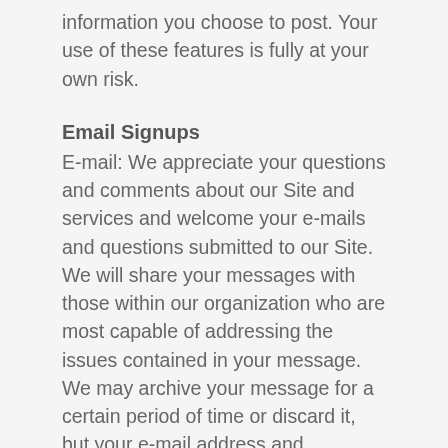information you choose to post. Your use of these features is fully at your own risk.
Email Signups
E-mail: We appreciate your questions and comments about our Site and services and welcome your e-mails and questions submitted to our Site. We will share your messages with those within our organization who are most capable of addressing the issues contained in your message. We may archive your message for a certain period of time or discard it, but your e-mail address and message will only be used in accordance with this Privacy Policy.
Submitting your e-mail: Submitting your address anywhere on the Site may result in your e-mail address being added to Sam for Assembly's e-mail list. You may unsubscribe to Sam for Assembly's e-